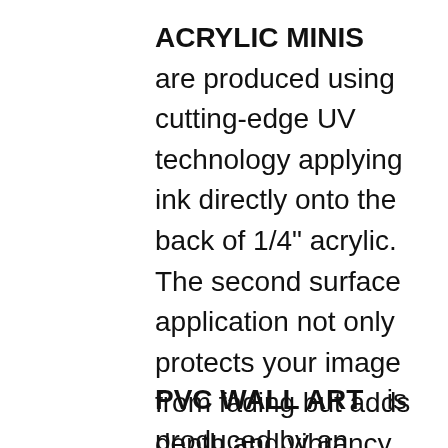ACRYLIC MINIS   are produced using cutting-edge UV technology applying ink directly onto the back of 1/4" acrylic. The second surface application not only protects your image from fading but adds depth and vibrancy. Artisans finish the acrylic by routing rounded corners and polishing the edges, producing a striking, modern look and feel. The Acrylic Mini comes with a tabletop display perfect for home, office, and tailgate.
PVC WALL ART   is produced by an advanced four-color UV ink printing...